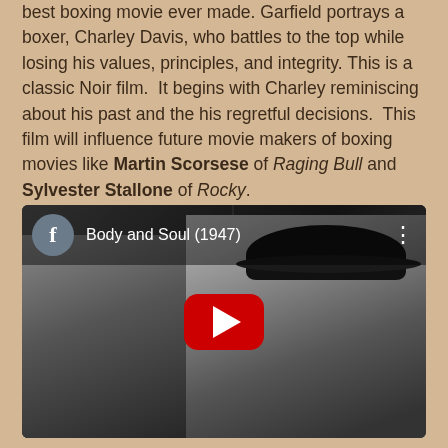best boxing movie ever made. Garfield portrays a boxer, Charley Davis, who battles to the top while losing his values, principles, and integrity. This is a classic Noir film. It begins with Charley reminiscing about his past and the his regretful decisions. This film will influence future movie makers of boxing movies like Martin Scorsese of Raging Bull and Sylvester Stallone of Rocky.
[Figure (screenshot): YouTube video embed thumbnail for 'Body and Soul (1947)' showing two men in a black and white scene, with a Facebook icon, video title, and YouTube play button overlay.]